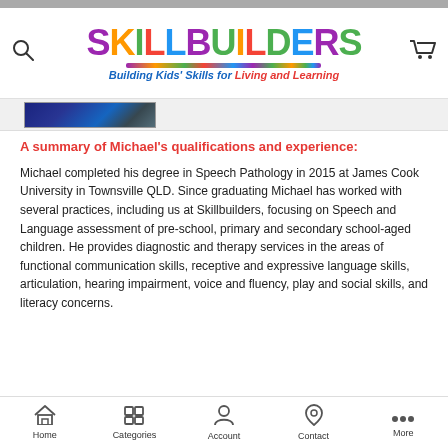[Figure (logo): SkillBuilders logo with colorful lettering and tagline 'Building Kids' Skills for Living and Learning']
[Figure (photo): Partial photo strip at top of content area]
A summary of Michael's qualifications and experience:
Michael completed his degree in Speech Pathology in 2015 at James Cook University in Townsville QLD. Since graduating Michael has worked with several practices, including us at Skillbuilders, focusing on Speech and Language assessment of pre-school, primary and secondary school-aged children. He provides diagnostic and therapy services in the areas of functional communication skills, receptive and expressive language skills, articulation, hearing impairment, voice and fluency, play and social skills, and literacy concerns.
Home   Categories   Account   Contact   More